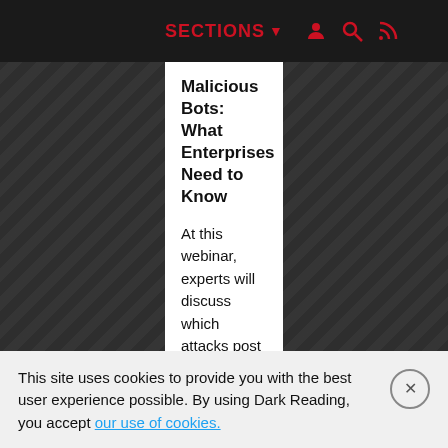SECTIONS
Malicious Bots: What Enterprises Need to Know
At this webinar, experts will discuss which attacks post the greatest risks to businesses, and highlight the impact across different industries. Register now>> webinar.darkreading.com/1328629?keycod...
DarkReading @DarkReadi... · Aug 27
This site uses cookies to provide you with the best user experience possible. By using Dark Reading, you accept our use of cookies.